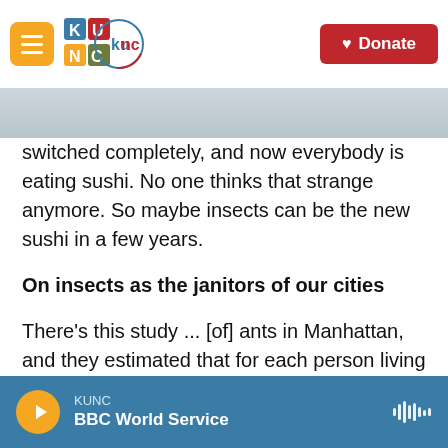KUNC | Donate
switched completely, and now everybody is eating sushi. No one thinks that strange anymore. So maybe insects can be the new sushi in a few years.
On insects as the janitors of our cities
There's this study ... [of] ants in Manhattan, and they estimated that for each person living in Manhattan there would be about 2,000 ants for each person — and that's actually something that you should be happy about, because they eat a lot of junk food remains that people drop on the pavement or leave on the lawn in the parks. And
KUNC | BBC World Service